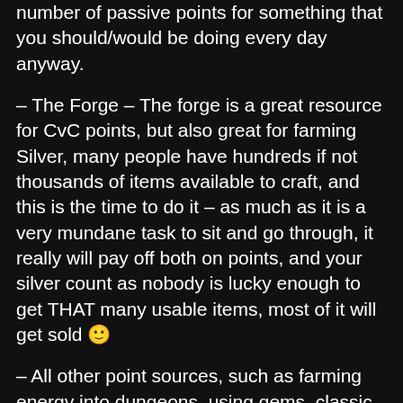number of passive points for something that you should/would be doing every day anyway.
– The Forge – The forge is a great resource for CvC points, but also great for farming Silver, many people have hundreds if not thousands of items available to craft, and this is the time to do it – as much as it is a very mundane task to sit and go through, it really will pay off both on points, and your silver count as nobody is lucky enough to get THAT many usable items, most of it will get sold 🙂
– All other point sources, such as farming energy into dungeons, using gems, classic arena are not HUGE point gains, but over the course of CVC they really will add up – so just make